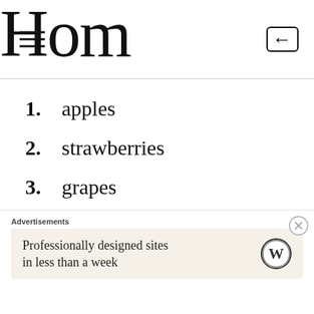Hom
1. apples
2. strawberries
3. grapes
4. celery
5. peaches
6. spinach
7. sweet bell peppers
Advertisements
Professionally designed sites in less than a week